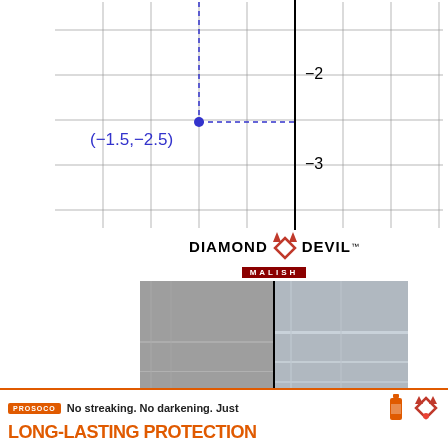[Figure (math-figure): Coordinate plane grid showing a plotted point at (-1.5, -2.5) with dashed blue lines indicating the coordinates. Y-axis labels show -2 and -3. The point is marked with a filled blue dot and labeled (-1.5, -2.5) in blue.]
[Figure (illustration): Diamond Devil by Malish advertisement. Shows a before/after comparison of a concrete floor being polished. Text reads 'Polish concrete or terrazzo, chemical-free in less steps.' with a 'Schedule your demo' button.]
[Figure (logo): StoneEdge PRO advertisement banner with dark background.]
[Figure (illustration): PROSOCO footer advertisement: 'No streaking. No darkening. Just LONG-LASTING PROTECTION' with orange branding and product bottle icon.]